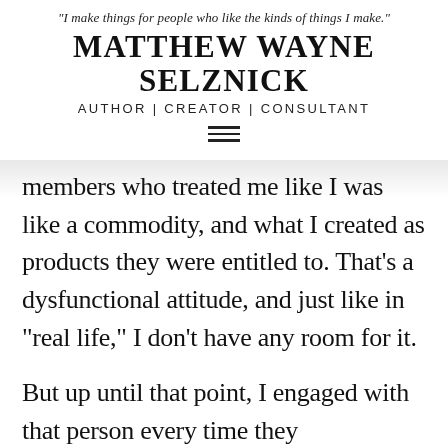"I make things for people who like the kinds of things I make." MATTHEW WAYNE SELZNICK AUTHOR | CREATOR | CONSULTANT
members who treated me like I was like a commodity, and what I created as products they were entitled to. That's a dysfunctional attitude, and just like in “real life,” I don’t have any room for it.
But up until that point, I engaged with that person every time they